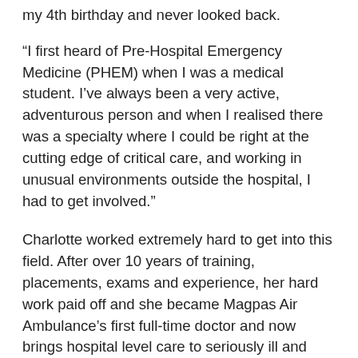my 4th birthday and never looked back.
“I first heard of Pre-Hospital Emergency Medicine (PHEM) when I was a medical student. I’ve always been a very active, adventurous person and when I realised there was a specialty where I could be right at the cutting edge of critical care, and working in unusual environments outside the hospital, I had to get involved.”
Charlotte worked extremely hard to get into this field. After over 10 years of training, placements, exams and experience, her hard work paid off and she became Magpas Air Ambulance’s first full-time doctor and now brings hospital level care to seriously ill and injured patients at the scene of their incidents, when time is of the essence.